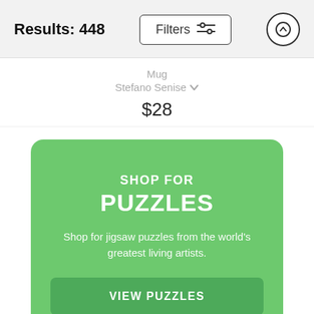Results: 448 | Filters | ↑
Mug
Stefano Senise ∨
$28
SHOP FOR PUZZLES
Shop for jigsaw puzzles from the world's greatest living artists.
VIEW PUZZLES